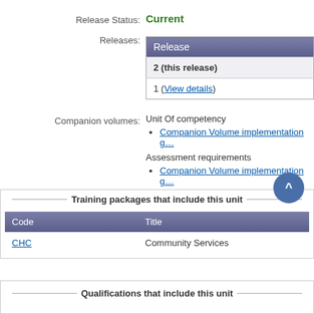Release Status: Current
| Release |
| --- |
| 2 (this release) |
| 1 (View details) |
Companion volumes: Unit Of competency
Companion Volume implementation g...
Assessment requirements
Companion Volume implementation g...
Delivery: Find RTOs approved to deliver this unit o...
Training packages that include this unit
| Code | Title |
| --- | --- |
| CHC | Community Services |
Qualifications that include this unit